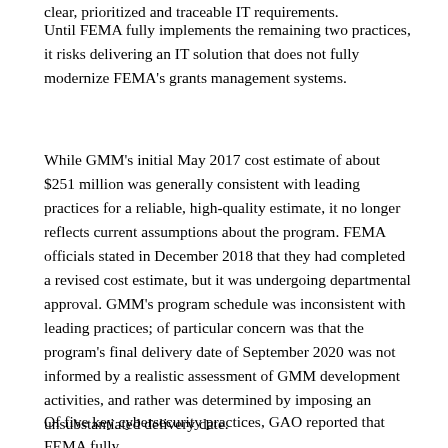clear, prioritized and traceable IT requirements.
Until FEMA fully implements the remaining two practices, it risks delivering an IT solution that does not fully modernize FEMA's grants management systems.
While GMM's initial May 2017 cost estimate of about $251 million was generally consistent with leading practices for a reliable, high-quality estimate, it no longer reflects current assumptions about the program. FEMA officials stated in December 2018 that they had completed a revised cost estimate, but it was undergoing departmental approval. GMM's program schedule was inconsistent with leading practices; of particular concern was that the program's final delivery date of September 2020 was not informed by a realistic assessment of GMM development activities, and rather was determined by imposing an unsubstantiated delivery date.
Of five key cybersecurity practices, GAO reported that FEMA fully